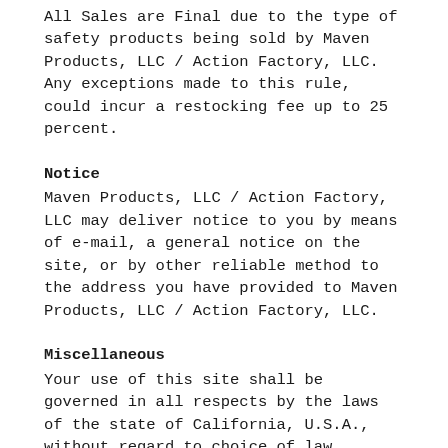All Sales are Final due to the type of safety products being sold by Maven Products, LLC / Action Factory, LLC. Any exceptions made to this rule, could incur a restocking fee up to 25 percent.
Notice
Maven Products, LLC / Action Factory, LLC may deliver notice to you by means of e-mail, a general notice on the site, or by other reliable method to the address you have provided to Maven Products, LLC / Action Factory, LLC.
Miscellaneous
Your use of this site shall be governed in all respects by the laws of the state of California, U.S.A., without regard to choice of law provisions, and not by the 1980 U.N.